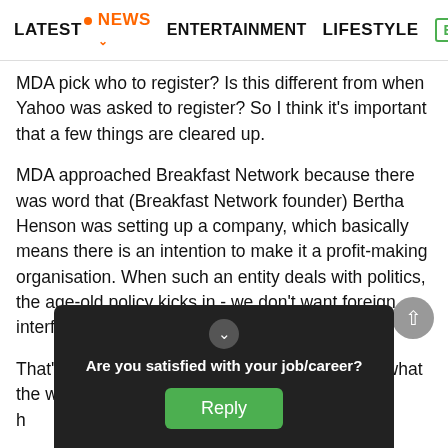LATEST · NEWS · ENTERTAINMENT · LIFESTYLE · EC>
MDA pick who to register? Is this different from when Yahoo was asked to register? So I think it's important that a few things are cleared up.
MDA approached Breakfast Network because there was word that (Breakfast Network founder) Bertha Henson was setting up a company, which basically means there is an intention to make it a profit-making organisation. When such an entity deals with politics, the age-old policy kicks in - we don't want foreign interference.
That's the root of it. It's not about the content of what the website posts. Bertha herself has said, MDA h...
[Figure (other): Dark popup overlay with question 'Are you satisfied with your job/career?' and a green Reply button, plus a scroll-up button]